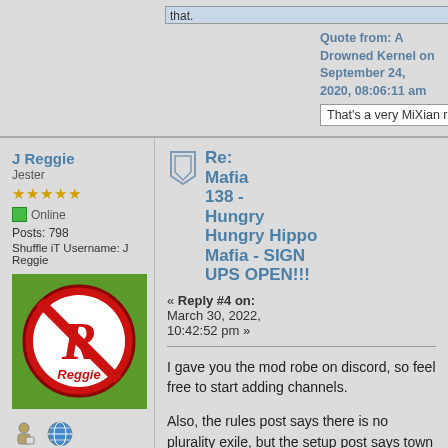Quote from: A Drowned Kernel on September 24, 2020, 08:06:11 am
That's a very MiXian response
J Reggie
Jester
Online
Posts: 798
Shuffle iT Username: J Reggie
[Figure (illustration): Avatar of J Reggie - red circular logo with letter R and Reggie text on green background]
Re: Mafia 138 - Hungry Hungry Hippo Mafia - SIGN UPS OPEN!!!
« Reply #4 on: March 30, 2022, 10:42:52 pm »
I gave you the mod robe on discord, so feel free to start adding channels.
Also, the rules post says there is no plurality exile, but the setup post says town cannot no-exile, which seem to be in conflict.
Logged